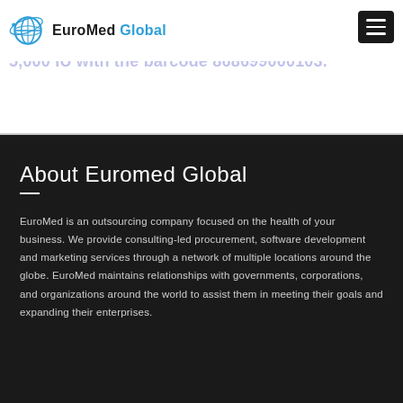EuroMed Global
One example on our health products is Vitamin B3 5,000 IU with the barcode 868699000103.
About Euromed Global
EuroMed is an outsourcing company focused on the health of your business. We provide consulting-led procurement, software development and marketing services through a network of multiple locations around the globe. EuroMed maintains relationships with governments, corporations, and organizations around the world to assist them in meeting their goals and expanding their enterprises.